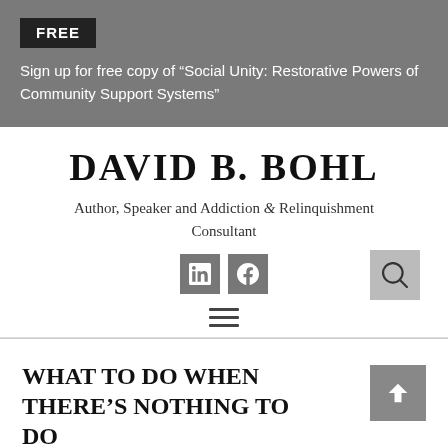FREE
Sign up for free copy of “Social Unity: Restorative Powers of Community Support Systems”
DAVID B. BOHL
Author, Speaker and Addiction & Relinquishment Consultant
[Figure (other): LinkedIn and Facebook social media icon buttons, and a search icon button]
[Figure (other): Hamburger menu icon (three horizontal lines)]
WHAT TO DO WHEN THERE’S NOTHING TO DO
[Figure (other): Back to top arrow button (grey square with upward chevron)]